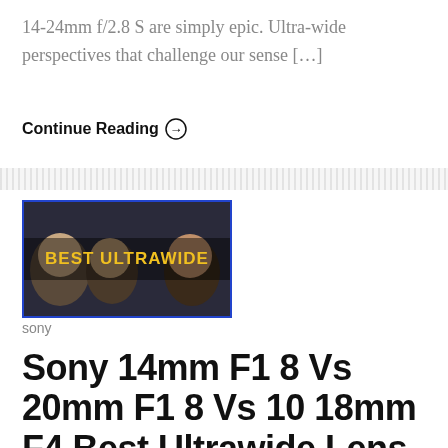14-24mm f/2.8 S are simply epic. Ultra-wide perspectives that challenge our sense […]
Continue Reading →
[Figure (screenshot): Video thumbnail showing people with ultra-wide lens distortion, with yellow text overlay reading 'BEST ULTRAWIDE']
sony
Sony 14mm F1 8 Vs 20mm F1 8 Vs 10 18mm F4 Best Ultrawide Lens